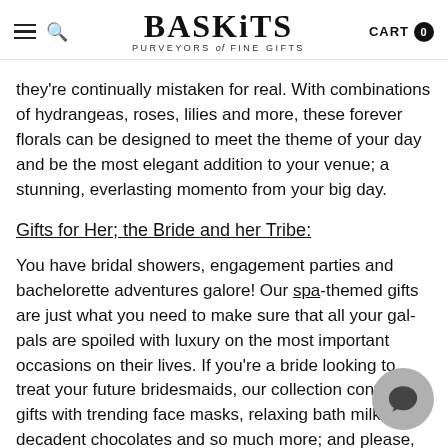BASKITS PURVEYORS of FINE GIFTS — CART 0
they're continually mistaken for real. With combinations of hydrangeas, roses, lilies and more, these forever florals can be designed to meet the theme of your day and be the most elegant addition to your venue; a stunning, everlasting momento from your big day.
Gifts for Her; the Bride and her Tribe:
You have bridal showers, engagement parties and bachelorette adventures galore! Our spa-themed gifts are just what you need to make sure that all your gal-pals are spoiled with luxury on the most important occasions on their lives. If you're a bride looking to treat your future bridesmaids, our collection contains gifts with trending face masks, relaxing bath milk, decadent chocolates and so much more; and please, dear bride, before your busy day, add one to the cart for you too!